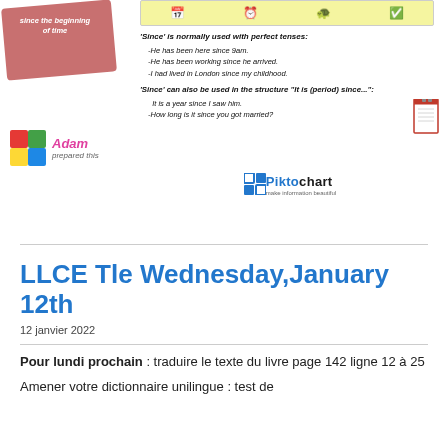[Figure (infographic): Educational infographic about the word 'Since' in English. Left side shows a pink/red sketched notebook with text 'since the beginning of time'. Below that is an 'Adam prepared this' puzzle logo. Right side has a yellow banner at top, then explanation text: "'Since' is normally used with perfect tenses:" with examples (-He has been here since 9am. -He has been working since he arrived. -I had lived in London since my childhood.) and a small notepad icon. Then: "'Since' can also be used in the structure 'It is (period) since...':" with examples (It is a year since I saw him. -How long is it since you got married?). Bottom center shows Piktochart logo.]
LLCE Tle Wednesday,January 12th
12 janvier 2022
Pour lundi prochain : traduire le texte du livre page 142 ligne 12 à 25
Amener votre dictionnaire unilingue : test de